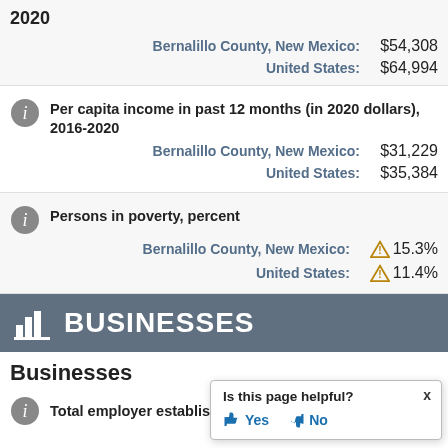2020
Bernalillo County, New Mexico: $54,308
United States: $64,994
Per capita income in past 12 months (in 2020 dollars), 2016-2020
Bernalillo County, New Mexico: $31,229
United States: $35,384
Persons in poverty, percent
Bernalillo County, New Mexico: 15.3%
United States: 11.4%
BUSINESSES
Businesses
Total employer establishment
Is this page helpful? Yes No